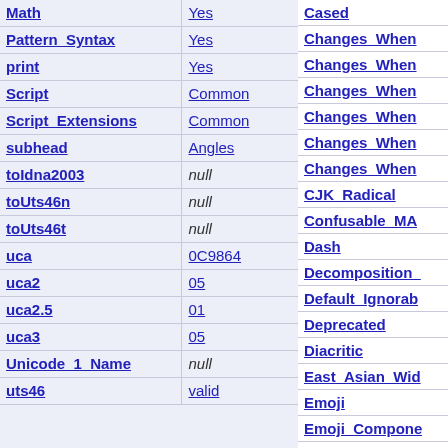| Property | Value |
| --- | --- |
| Math | Yes |
| Pattern_Syntax | Yes |
| print | Yes |
| Script | Common |
| Script_Extensions | Common |
| subhead | Angles |
| toIdna2003 | null |
| toUts46n | null |
| toUts46t | null |
| uca | 0C9864 |
| uca2 | 05 |
| uca2.5 | 01 |
| uca3 | 05 |
| Unicode_1_Name | null |
| uts46 | valid |
Cased
Changes When
Changes When
Changes When
Changes When
Changes When
Changes When
CJK_Radical
Confusable_MA
Dash
Decomposition_
Default_Ignorab
Deprecated
Diacritic
East_Asian_Wid
Emoji
Emoji_Compone
Emoji_Keycap_
Emoji_Modifier
Emoji_Modifier
Emoji_Presenta
Emoji_Unit